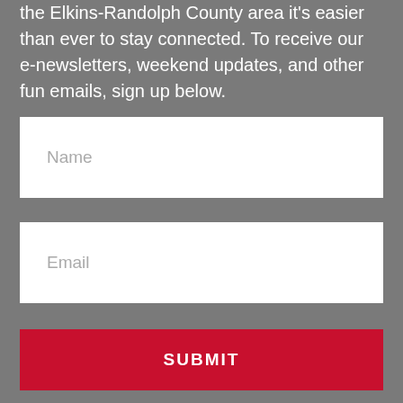the Elkins-Randolph County area it's easier than ever to stay connected. To receive our e-newsletters, weekend updates, and other fun emails, sign up below.
Name
Email
SUBMIT